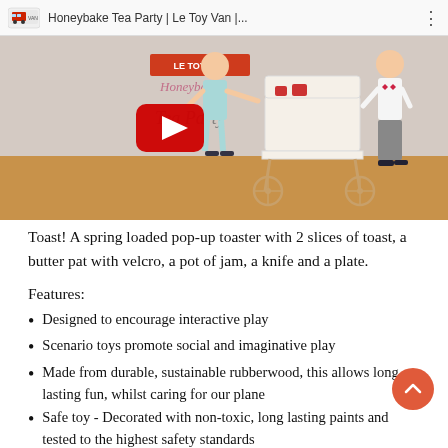[Figure (screenshot): YouTube video thumbnail for 'Honeybake Tea Party | Le Toy Van |...' showing two children playing with a wooden toy tea cart. A red YouTube play button is overlaid in the center. The video player bar at top shows the Le Toy Van bus logo, video title, and a three-dot menu. The scene shows a girl and boy with a decorative wooden tea trolley toy.]
Toast! A spring loaded pop-up toaster with 2 slices of toast, a butter pat with velcro, a pot of jam, a knife and a plate.
Features:
Designed to encourage interactive play
Scenario toys promote social and imaginative play
Made from durable, sustainable rubberwood, this allows long lasting fun, whilst caring for our plane
Safe toy - Decorated with non-toxic, long lasting paints and tested to the highest safety standards
Suitable for age 3